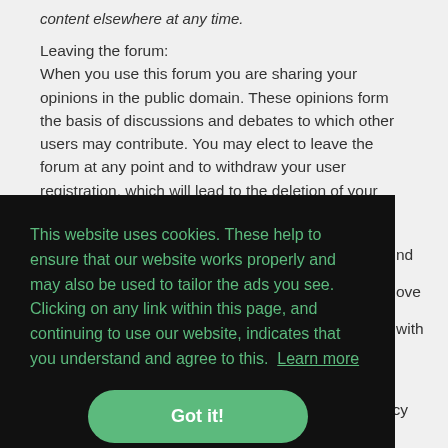content elsewhere at any time.
Leaving the forum:
When you use this forum you are sharing your opinions in the public domain. These opinions form the basis of discussions and debates to which other users may contribute. You may elect to leave the forum at any point and to withdraw your user registration, which will lead to the deletion of your
This website uses cookies. These help to ensure that our website works properly and may also be used to tailor the ads you see. Clicking on any link within this page, and continuing to use our website, indicates that you understand and agree to this.  Learn more  Got it!
and Copyright Policies page at: